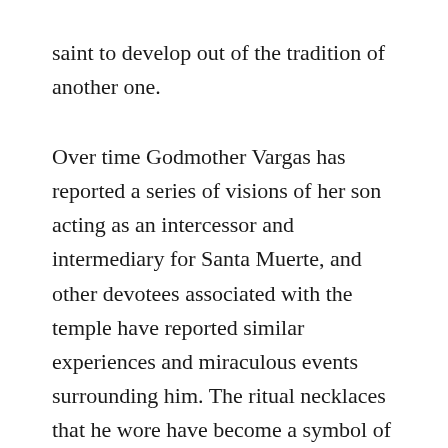saint to develop out of the tradition of another one.
Over time Godmother Vargas has reported a series of visions of her son acting as an intercessor and intermediary for Santa Muerte, and other devotees associated with the temple have reported similar experiences and miraculous events surrounding him. The ritual necklaces that he wore have become a symbol of faith and spiritual power. They were with him at the time of his murder, and since receiving